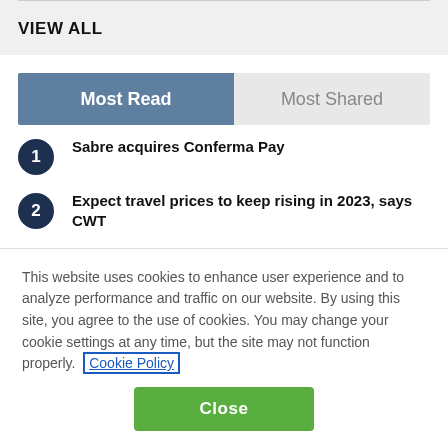VIEW ALL
Most Read
Most Shared
1 Sabre acquires Conferma Pay
2 Expect travel prices to keep rising in 2023, says CWT
This website uses cookies to enhance user experience and to analyze performance and traffic on our website. By using this site, you agree to the use of cookies. You may change your cookie settings at any time, but the site may not function properly. Cookie Policy
Close